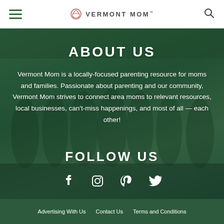Vermont Mom
[Figure (photo): Group of women standing in shallow water outdoors, trees in background, with dark green overlay tint]
ABOUT US
Vermont Mom is a locally-focused parenting resource for moms and families. Passionate about parenting and our community, Vermont Mom strives to connect area moms to relevant resources, local businesses, can't-miss happenings, and most of all — each other!
FOLLOW US
Social media icons: Facebook, Instagram, Pinterest, Twitter
Advertising With Us   Contact Us   Terms and Conditions